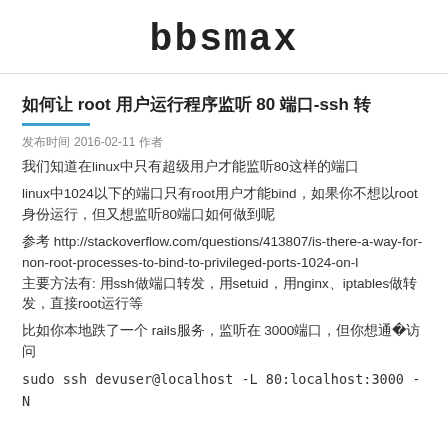bbsmax
如何让 root 用户运行程序监听 80 端口-ssh 转
发布时间  2016-02-11  作者
我们知道在linux中只有超级用户才能监听80这样的端口
linux中1024以下的端口只有root用户才能bind，如果你不想以root身份运行，但又想监听80端口如何做到呢
参考 http://stackoverflow.com/questions/413807/is-there-a-way-for-non-root-processes-to-bind-to-privileged-ports-1024-on-l
主要方法有: 用ssh做端口转发，用setuid，用iptables做转发，直接root运行等
比如你本地跑了一个 rails服务，监听在 3000端口，但你想通过80访问
sudo ssh devuser@localhost -L 80:localhost:3000 -N